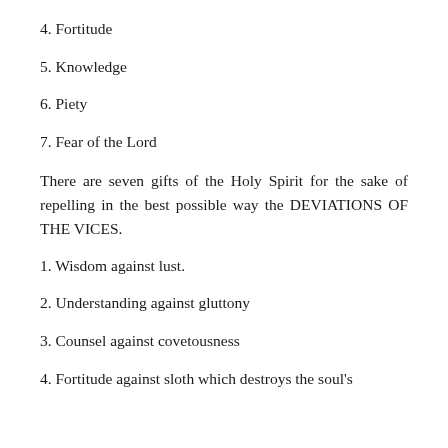4. Fortitude
5. Knowledge
6. Piety
7. Fear of the Lord
There are seven gifts of the Holy Spirit for the sake of repelling in the best possible way the DEVIATIONS OF THE VICES.
1. Wisdom against lust.
2. Understanding against gluttony
3. Counsel against covetousness
4. Fortitude against sloth which destroys the soul's